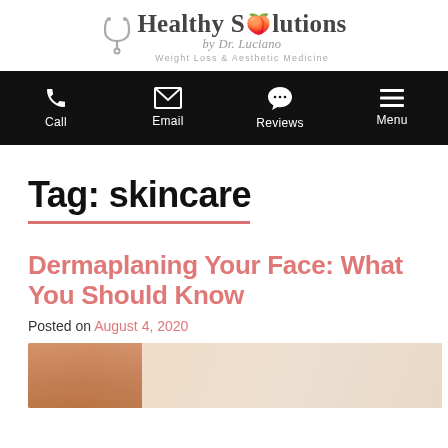[Figure (logo): Healthy Solutions by Dr. Luciano – Weight Loss & Aesthetic Medicine logo with stethoscope and peach icon]
Call | Email | Reviews | Menu
Tag: skincare
Dermaplaning Your Face: What You Should Know
Posted on August 4, 2020
[Figure (photo): Photo of a woman receiving a dermaplaning facial treatment]